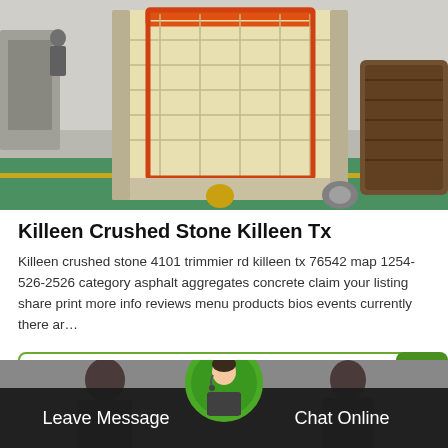[Figure (photo): Industrial stone crusher / impact crusher machine in a factory setting with green-painted floor and yellow stripe. A large beige-colored crushing machine is visible in the center, with industrial equipment in the background.]
Killeen Crushed Stone Killeen Tx
Killeen crushed stone 4101 trimmier rd killeen tx 76542 map 1254-526-2526 category asphalt aggregates concrete claim your listing share print more info reviews menu products bios events currently there ar…
GET LATEST PRICE
[Figure (photo): Bottom banner with dark background showing a customer service representative avatar in a green circle in the center, with 'Leave Message' text on the left and 'Chat Online' text on the right, all on a dark overlay bar.]